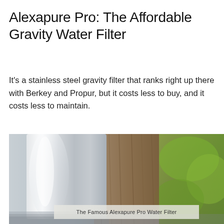Alexapure Pro: The Affordable Gravity Water Filter
It's a stainless steel gravity filter that ranks right up there with Berkey and Propur, but it costs less to buy, and it costs less to maintain.
[Figure (photo): Close-up photograph of a stainless steel Alexapure Pro water filter with blurred wooden background and greenery visible on the right side.]
The Famous Alexapure Pro Water Filter